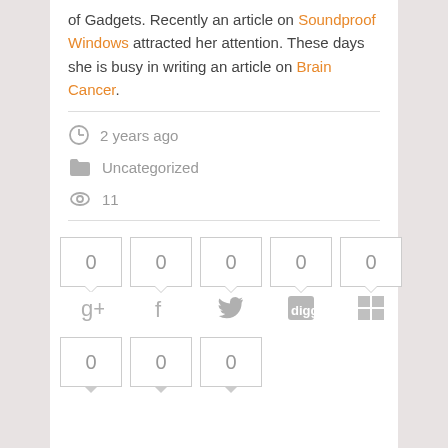of Gadgets. Recently an article on Soundproof Windows attracted her attention. These days she is busy in writing an article on Brain Cancer.
2 years ago | Uncategorized | 11 views
[Figure (infographic): Social share buttons with count boxes (all showing 0): Google+, Facebook, Twitter, Digg, grid/share icon in first row; three more count boxes (all 0) in second row]